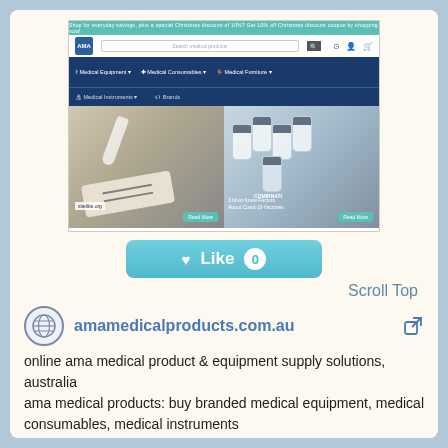[Figure (screenshot): Screenshot of amamedicalproducts.com.au website showing navigation bar with AMA logo, search field, category menus (Medical Equipment, Medical Consumables, Medical Furniture, Medical Instruments, Brands), and two hero images: a rapid antigen test being administered on the left, and medical vials/vaccines on the right with 'COMIRNATY' visible]
[Figure (other): Light blue Like button with heart icon and count of 0]
Scroll Top
amamedicalproducts.com.au
online ama medical product & equipment supply solutions, australia
ama medical products: buy branded medical equipment, medical consumables, medical instruments